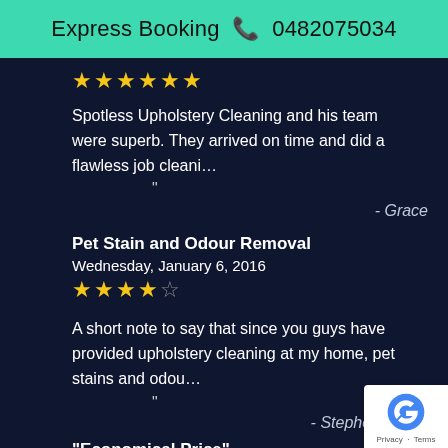Express Booking 📞 0482075034
★★★★★★
Spotless Upholstery Cleaning and his team were superb. They arrived on time and did a flawless job cleani…
- Grace
Pet Stain and Odour Removal
Wednesday, January 6, 2016
★★★★☆
A short note to say that since you guys have provided upholstery cleaning at my home, pet stains and odou…
- Stephen Grima
"Economical Price"